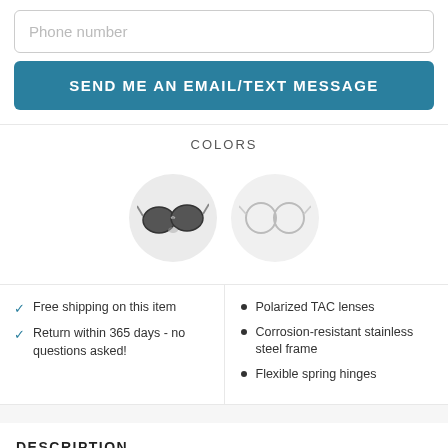Phone number
SEND ME AN EMAIL/TEXT MESSAGE
COLORS
[Figure (photo): Two circular color swatches showing sunglasses options: dark polarized lenses (left) and clear/transparent frame (right)]
Free shipping on this item
Return within 365 days - no questions asked!
Polarized TAC lenses
Corrosion-resistant stainless steel frame
Flexible spring hinges
DESCRIPTION